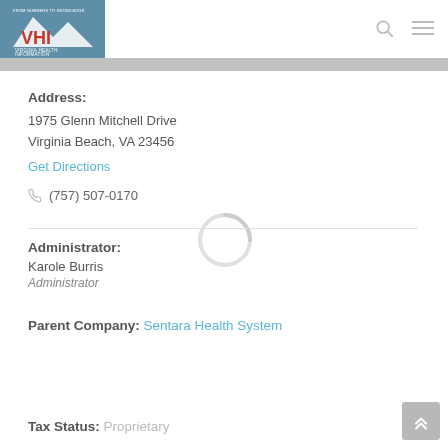VHI — Virginia Health Information
Address:
1975 Glenn Mitchell Drive
Virginia Beach, VA 23456
Get Directions
(757) 507-0170
Administrator:
Karole Burris
Administrator
Parent Company: Sentara Health System
Tax Status: Proprietary